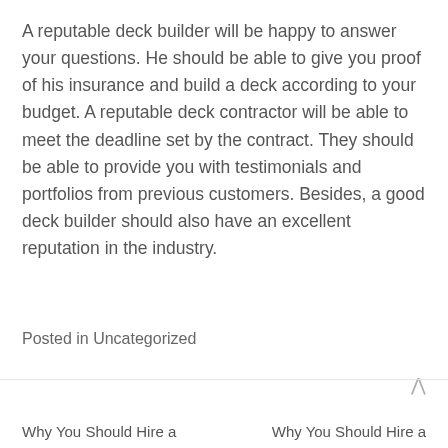A reputable deck builder will be happy to answer your questions. He should be able to give you proof of his insurance and build a deck according to your budget. A reputable deck contractor will be able to meet the deadline set by the contract. They should be able to provide you with testimonials and portfolios from previous customers. Besides, a good deck builder should also have an excellent reputation in the industry.
Posted in Uncategorized
Why You Should Hire a | Why You Should Hire a